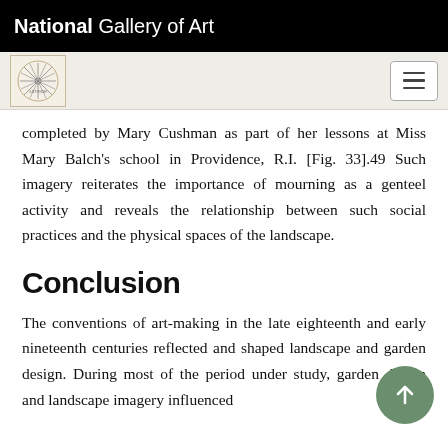National Gallery of Art
completed by Mary Cushman as part of her lessons at Miss Mary Balch's school in Providence, R.I. [Fig. 33].49 Such imagery reiterates the importance of mourning as a genteel activity and reveals the relationship between such social practices and the physical spaces of the landscape.
Conclusion
The conventions of art-making in the late eighteenth and early nineteenth centuries reflected and shaped landscape and garden design. During most of the period under study, garden design and landscape imagery influenced